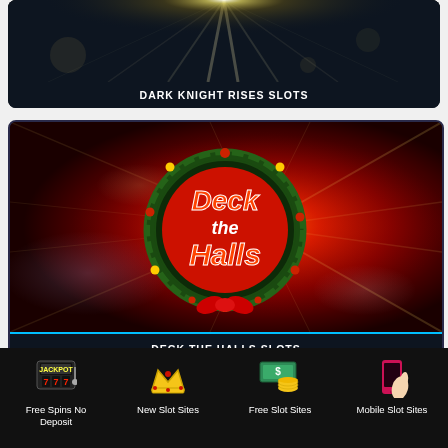[Figure (screenshot): Dark Knight Rises Slots game card with dark background and bright starburst light effect]
DARK KNIGHT RISES SLOTS
[Figure (screenshot): Deck the Halls Slots game card with red radial background and Christmas wreath logo with the text Deck the Halls]
DECK THE HALLS SLOTS
[Figure (infographic): Footer navigation bar with four icons and labels: Free Spins No Deposit (slot machine jackpot icon), New Slot Sites (crown icon), Free Slot Sites (money bag icon), Mobile Slot Sites (mobile phone icon)]